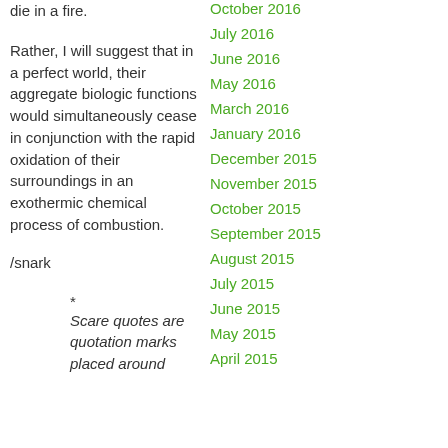die in a fire.
Rather, I will suggest that in a perfect world, their aggregate biologic functions would simultaneously cease in conjunction with the rapid oxidation of their surroundings in an exothermic chemical process of combustion.
/snark
* Scare quotes are quotation marks placed around
October 2016
July 2016
June 2016
May 2016
March 2016
January 2016
December 2015
November 2015
October 2015
September 2015
August 2015
July 2015
June 2015
May 2015
April 2015